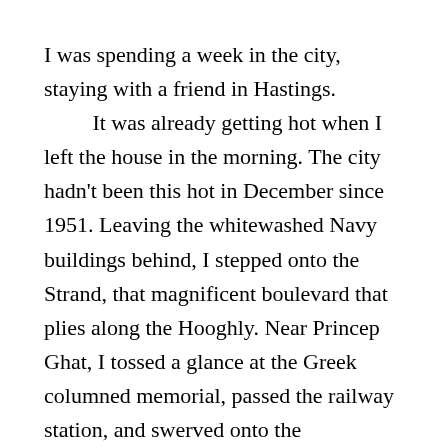I was spending a week in the city, staying with a friend in Hastings. It was already getting hot when I left the house in the morning. The city hadn't been this hot in December since 1951. Leaving the whitewashed Navy buildings behind, I stepped onto the Strand, that magnificent boulevard that plies along the Hooghly. Near Princep Ghat, I tossed a glance at the Greek columned memorial, passed the railway station, and swerved onto the promenade by the river. Country boats were moored there; it would be hours before visitors would come to rent them for river cruises. The people who live by the ghats were still starting their day, some taking baths, others preparing meals.